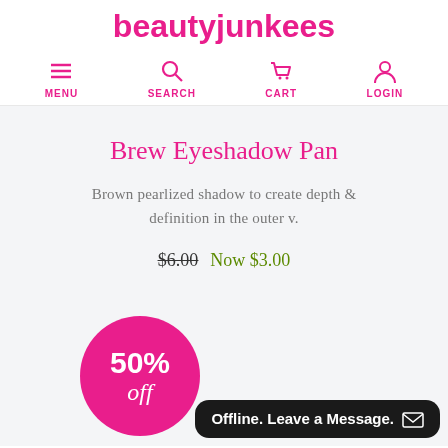beautyjunkees
[Figure (screenshot): Navigation bar with MENU, SEARCH, CART, LOGIN icons in pink]
Brew Eyeshadow Pan
Brown pearlized shadow to create depth & definition in the outer v.
$6.00  Now $3.00
[Figure (infographic): Pink circle badge reading 50% off]
Offline. Leave a Message.